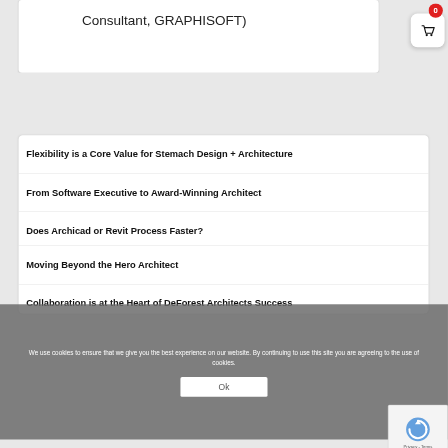Consultant, GRAPHISOFT)
[Figure (other): Shopping basket icon with red badge showing 0]
Flexibility is a Core Value for Stemach Design + Architecture
From Software Executive to Award-Winning Architect
Does Archicad or Revit Process Faster?
Moving Beyond the Hero Architect
Collaboration is at the Heart of DeForest Architects Success
We use cookies to ensure that we give you the best experience on our website. By continuing to use this site you are agreeing to the use of cookies.
Ok
[Figure (other): reCAPTCHA logo with Privacy - Terms text]